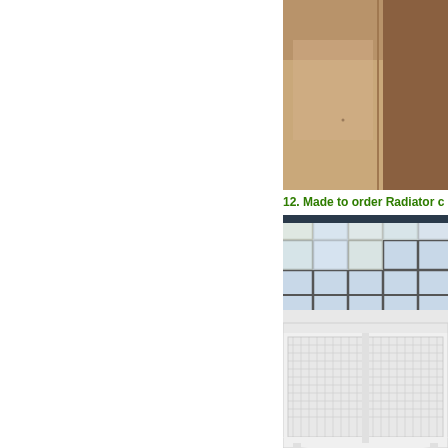[Figure (photo): Interior room photo showing a wall/ceiling area with warm brown/tan tones, partial view of a staircase or architectural feature]
12. Made to order Radiator c
[Figure (photo): Photo of a white radiator cover with decorative lattice/mesh grille panels, installed beneath large multi-pane windows in a room]